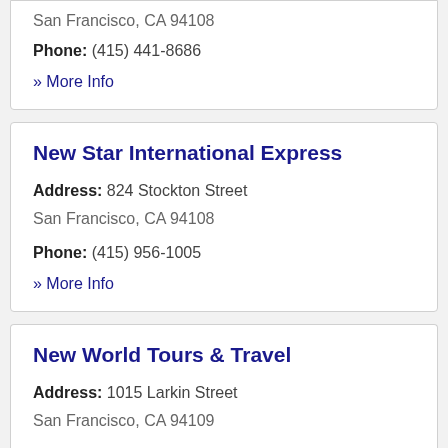San Francisco, CA 94108
Phone: (415) 441-8686
» More Info
New Star International Express
Address: 824 Stockton Street San Francisco, CA 94108
Phone: (415) 956-1005
» More Info
New World Tours & Travel
Address: 1015 Larkin Street San Francisco, CA 94109
Phone: (415) 441-8687